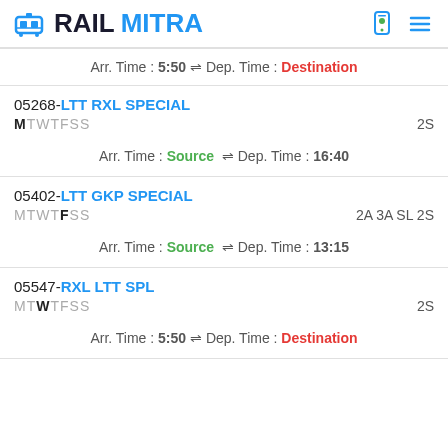RAILMITRA
Arr. Time : 5:50 ⇌ Dep. Time : Destination
05268-LTT RXL SPECIAL MTWTFSS 2S Arr. Time : Source ⇌ Dep. Time : 16:40
05402-LTT GKP SPECIAL MTWTFSS 2A 3A SL 2S Arr. Time : Source ⇌ Dep. Time : 13:15
05547-RXL LTT SPL MTWTFSS 2S Arr. Time : 5:50 ⇌ Dep. Time : Destination